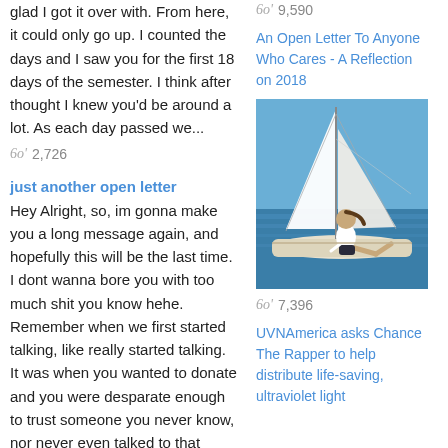glad I got it over with. From here, it could only go up. I counted the days and I saw you for the first 18 days of the semester. I think after thought I knew you'd be around a lot. As each day passed we...
❤ 2,726
just another open letter
Hey Alright, so, im gonna make you a long message again, and hopefully this will be the last time. I dont wanna bore you with too much shit you know hehe. Remember when we first started talking, like really started talking. It was when you wanted to donate and you were desparate enough to trust someone you never know, nor never even talked to that much. I remember to share something about that...
❤ 9,590
An Open Letter To Anyone Who Cares - A Reflection on 2018
[Figure (photo): Woman sitting on the deck of a sailboat on the ocean, wearing a white shirt and dark shorts, with the sail visible above her and blue sky in the background.]
❤ 7,396
UVNAmerica asks Chance The Rapper to help distribute life-saving, ultraviolet light